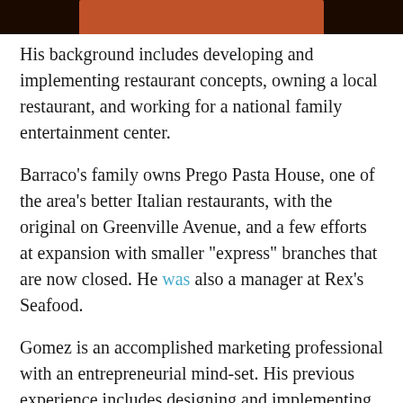[Figure (photo): Partial image visible at top of page, dark background with orange/brown element]
His background includes developing and implementing restaurant concepts, owning a local restaurant, and working for a national family entertainment center.
Barraco's family owns Prego Pasta House, one of the area's better Italian restaurants, with the original on Greenville Avenue, and a few efforts at expansion with smaller "express" branches that are now closed. He was also a manager at Rex's Seafood.
Gomez is an accomplished marketing professional with an entrepreneurial mind-set. His previous experience includes designing and implementing marketing strategies for Sundance Square in Fort Worth, giving him firsthand knowledge of how to create positive, widespread awareness for entertainment districts.